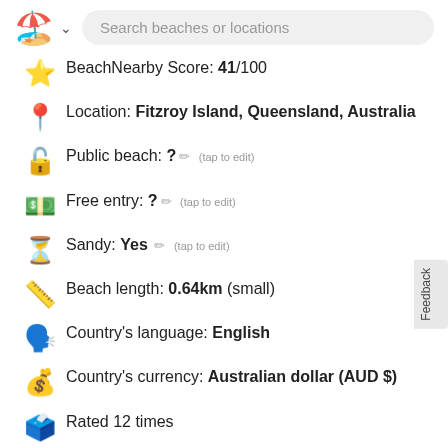Search beaches or locations
BeachNearby Score: 41/100
Location: Fitzroy Island, Queensland, Australia
Public beach: ? (tap to edit)
Free entry: ? (tap to edit)
Sandy: Yes (tap to edit)
Beach length: 0.64km (small)
Country's language: English
Country's currency: Australian dollar (AUD $)
Rated 12 times